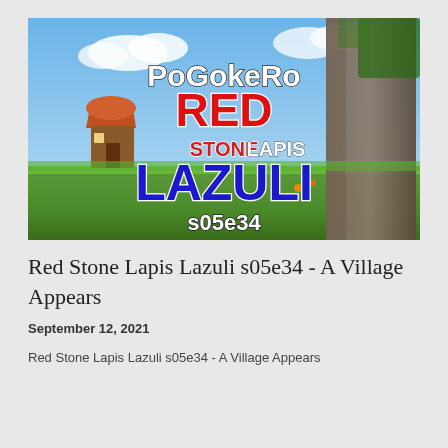[Figure (screenshot): Minecraft-style game thumbnail showing PoGokeRo branding with text 'PoGokeRo', 'RED', 'STONE LAPIS', 'LAZULI', 's05e34' over a pixelated landscape background with a red hut and tree]
Red Stone Lapis Lazuli s05e34 - A Village Appears
September 12, 2021
Red Stone Lapis Lazuli s05e34 - A Village Appears